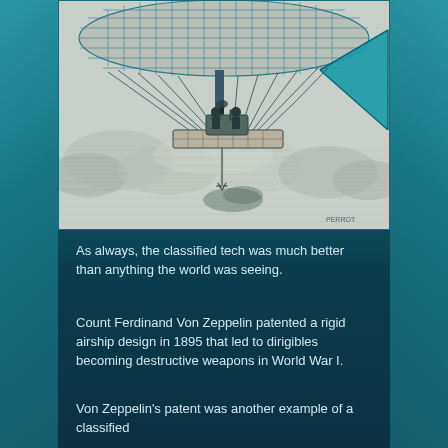[Figure (illustration): Vintage engraving illustration of an early dirigible/airship with a large elongated gas bag at top with grid/net pattern, rigging lines, a gondola with machinery and operators beneath, a teal/turquoise triangular sail on the right, clouds in background, and 'PERROT' signature at bottom right.]
As always, the classified tech was much better than anything the world was seeing.
Count Ferdinand Von Zeppelin patented a rigid airship design in 1895 that led to dirigibles becoming destructive weapons in World War I.
Von Zeppelin's patent was another example of a classified technology which the world only slowly discovered.